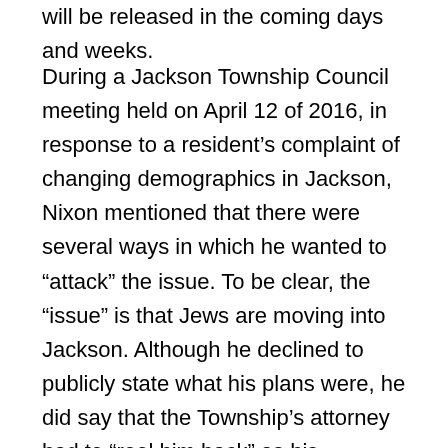will be released in the coming days and weeks.
During a Jackson Township Council meeting held on April 12 of 2016, in response to a resident's complaint of changing demographics in Jackson, Nixon mentioned that there were several ways in which he wanted to “attack” the issue. To be clear, the “issue” is that Jews are moving into Jackson. Although he declined to publicly state what his plans were, he did say that the Township’s attorney had to “reel him back” as his proposals were illegal. Nixon told the resident that he would prefer to speak “off the mic” regarding his and others’ complaints of Jews settling in Jackson’s borders. Here is the relevant audio from that meeting: